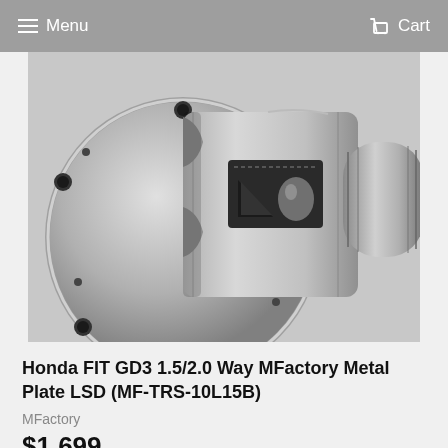Menu   Cart
[Figure (photo): Close-up photo of a Honda FIT GD3 MFactory Metal Plate LSD differential unit, showing precision machined aluminum/steel housing with multiple bolt holes, internal gear mechanism visible through a rectangular window, and a cylindrical end shaft with splines.]
Honda FIT GD3 1.5/2.0 Way MFactory Metal Plate LSD (MF-TRS-10L15B)
MFactory
$1,699